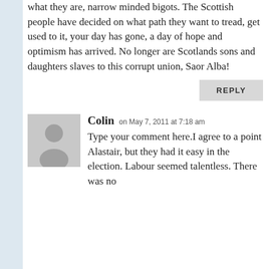what they are, narrow minded bigots. The Scottish people have decided on what path they want to tread, get used to it, your day has gone, a day of hope and optimism has arrived. No longer are Scotlands sons and daughters slaves to this corrupt union, Saor Alba!
REPLY
Colin on May 7, 2011 at 7:18 am
Type your comment here.I agree to a point Alastair, but they had it easy in the election. Labour seemed talentless. There was no